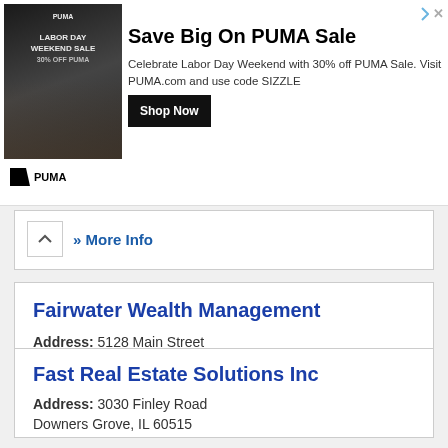[Figure (other): PUMA Labor Day Weekend Sale advertisement banner with photo of athlete, 'Save Big On PUMA Sale' headline, description text, and Shop Now button]
» More Info
Fairwater Wealth Management
Address: 5128 Main Street
Downers Grove, IL 60515
Phone: (630) 748-6030
» More Info
Fast Real Estate Solutions Inc
Address: 3030 Finley Road
Downers Grove, IL 60515